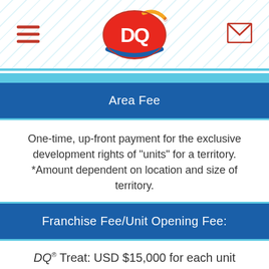DQ (Dairy Queen) mobile website header with hamburger menu and mail icon
Area Fee
One-time, up-front payment for the exclusive development rights of "units" for a territory. *Amount dependent on location and size of territory.
Franchise Fee/Unit Opening Fee:
DQ® Treat: USD $15,000 for each unit opened.
DQ Grill & Chill®: USD $35,000 for each